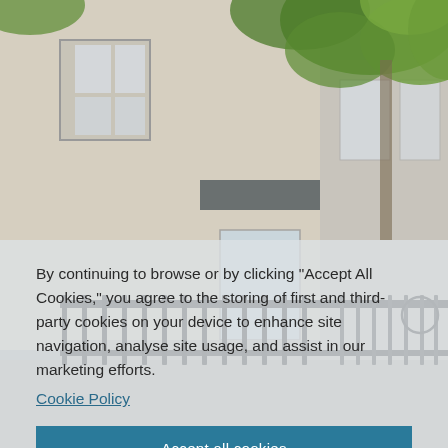[Figure (photo): Photograph of a building exterior with cream-colored walls, large windows, a metal gate/fence in the foreground, and green tree leaves visible at the top right. Sunny day, urban street scene.]
By continuing to browse or by clicking "Accept All Cookies," you agree to the storing of first and third-party cookies on your device to enhance site navigation, analyse site usage, and assist in our marketing efforts. Cookie Policy
Accept all cookies